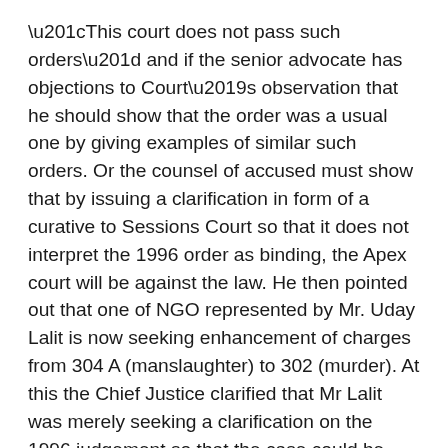“This court does not pass such orders” and if the senior advocate has objections to Court’s observation that he should show that the order was a usual one by giving examples of similar such orders. Or the counsel of accused must show that by issuing a clarification in form of a curative to Sessions Court so that it does not interpret the 1996 order as binding, the Apex court will be against the law. He then pointed out that one of NGO represented by Mr. Uday Lalit is now seeking enhancement of charges from 304 A (manslaughter) to 302 (murder). At this the Chief Justice clarified that Mr Lalit was merely seeking a clarification on the 1996 judgement so that the case could be transferred to lower courts leaving them to apply their own mind to decide on the charges depending on the merits of the case.
Today’s proceedings jolted everyone including me whose illusions of Courts being passive receiver of Lawyers’ arguments, courtesy mainstream movies, just came down in one go. I am not sure what the fate of this case eventually